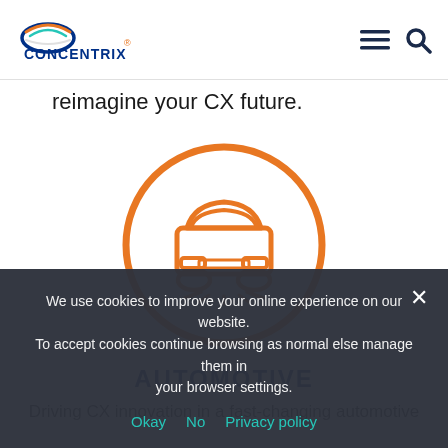Concentrix [logo] [menu icon] [search icon]
reimagine your CX future.
[Figure (illustration): Orange circle outline with a front-facing car icon inside, drawn in orange line-art style]
AUTOMOTIVE
Driving CX innovation in a fast-changing automotive
We use cookies to improve your online experience on our website. To accept cookies continue browsing as normal else manage them in your browser settings.
Okay  No  Privacy policy